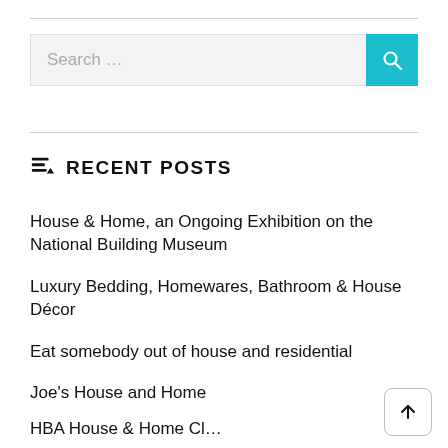[Figure (screenshot): Search bar with teal search button and magnifying glass icon]
RECENT POSTS
House & Home, an Ongoing Exhibition on the National Building Museum
Luxury Bedding, Homewares, Bathroom & House Décor
Eat somebody out of house and residential
Joe's House and Home
HBA House & Home Cl...